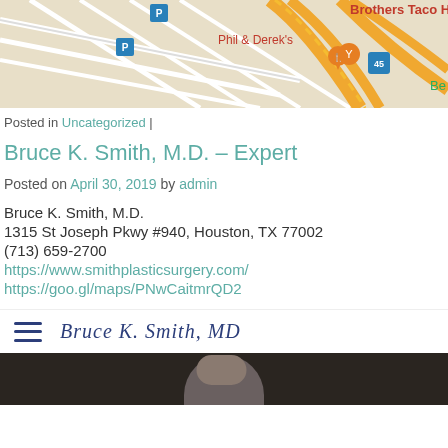[Figure (map): Google Maps screenshot showing street map with orange highway routes, restaurant pins for Phil & Derek's, Brothers Taco House label in red, Be label in green, and blue square map icons]
Posted in Uncategorized |
Bruce K. Smith, M.D. – Expert
Posted on April 30, 2019 by admin
Bruce K. Smith, M.D.
1315 St Joseph Pkwy #940, Houston, TX 77002
(713) 659-2700
https://www.smithplasticsurgery.com/
https://goo.gl/maps/PNwCaitmrQD2
[Figure (logo): Website footer bar with hamburger menu icon and Bruce K. Smith MD script logo]
[Figure (photo): Bottom strip showing a person's head/shoulders in dark setting]